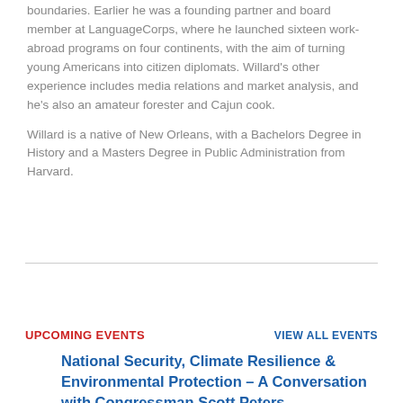boundaries. Earlier he was a founding partner and board member at LanguageCorps, where he launched sixteen work-abroad programs on four continents, with the aim of turning young Americans into citizen diplomats. Willard's other experience includes media relations and market analysis, and he's also an amateur forester and Cajun cook.
Willard is a native of New Orleans, with a Bachelors Degree in History and a Masters Degree in Public Administration from Harvard.
Upcoming Events
VIEW ALL EVENTS
National Security, Climate Resilience & Environmental Protection – A Conversation with Congressman Scott Peters
August 31 @ 12:00 pm - 12:30 pm EDT